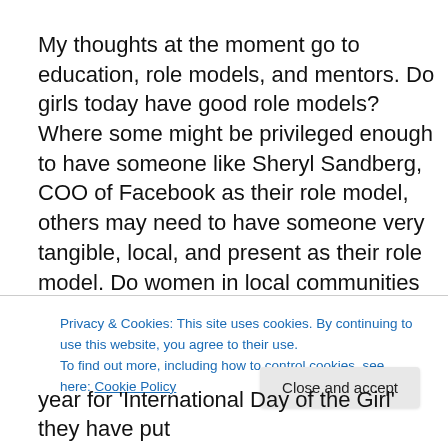My thoughts at the moment go to education, role models, and mentors. Do girls today have good role models? Where some might be privileged enough to have someone like Sheryl Sandberg, COO of Facebook as their role model, others may need to have someone very tangible, local, and present as their role model. Do women in local communities have the time, patience, and dedication to be
Privacy & Cookies: This site uses cookies. By continuing to use this website, you agree to their use. To find out more, including how to control cookies, see here: Cookie Policy
Close and accept
year for 'International Day of the Girl' they have put